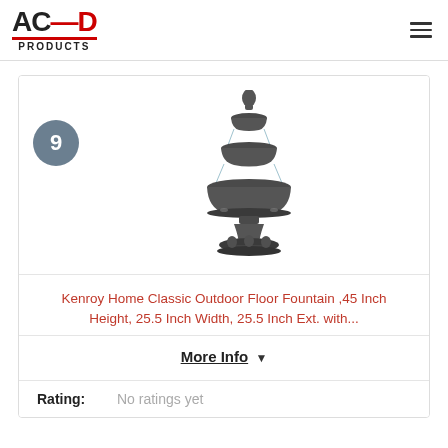ACED PRODUCTS
[Figure (photo): A three-tiered classical outdoor floor fountain in dark grey/black finish with ornate decorative base, 45 inch height product photo]
Kenroy Home Classic Outdoor Floor Fountain ,45 Inch Height, 25.5 Inch Width, 25.5 Inch Ext. with...
More Info ▼
Rating: No ratings yet